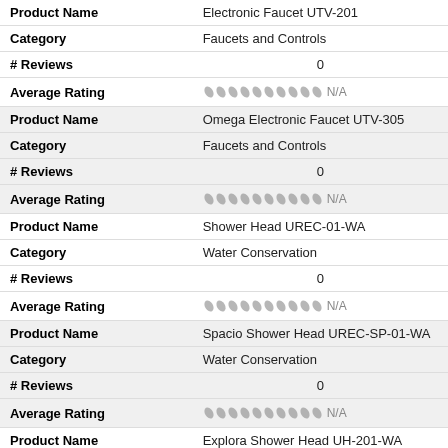| Field | Value |
| --- | --- |
| Product Name | Electronic Faucet UTV-201 |
| Category | Faucets and Controls |
| # Reviews | 0 |
| Average Rating | N/A |
| Product Name | Omega Electronic Faucet UTV-305 |
| Category | Faucets and Controls |
| # Reviews | 0 |
| Average Rating | N/A |
| Product Name | Shower Head UREC-01-WA |
| Category | Water Conservation |
| # Reviews | 0 |
| Average Rating | N/A |
| Product Name | Spacio Shower Head UREC-SP-01-WA |
| Category | Water Conservation |
| # Reviews | 0 |
| Average Rating | N/A |
| Product Name | Explora Shower Head UH-201-WA |
| Category | Water Conservation |
| # Reviews | 0 |
| Average Rating | N/A |